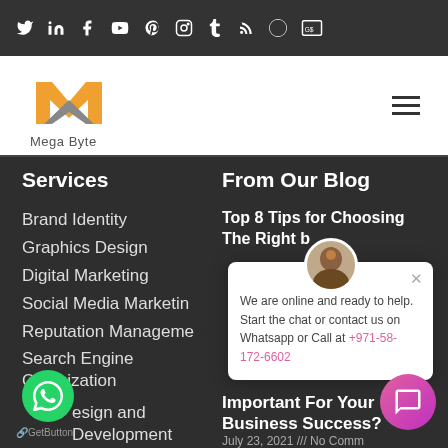Social media icons bar: Twitter, LinkedIn, Facebook, YouTube, Pinterest, Instagram, Tumblr, RSS, WordPress, GoDaddy
[Figure (logo): Mega Byte logo: orange M with grey chevron, text 'Mega Byte' below]
Services
Brand Identity
Graphics Design
Digital Marketing
Social Media Marketing
Reputation Management
Search Engine Optimization
Design and Development
From Our Blog
Top 8 Tips for Choosing The Right b
[Figure (other): Chat popup overlay with avatar, text: We are online and ready to help. Start the chat or contact us on Whatsapp or Call at +971-58-172-6602, with X close button]
Important For Your Business Success?
July 23, 2021 /// No Comm
[Figure (other): WhatsApp floating button (green circle)]
GetButton
[Figure (other): Pink/magenta chat button at bottom right]